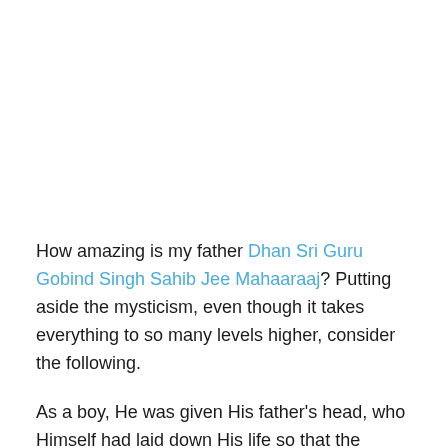How amazing is my father Dhan Sri Guru Gobind Singh Sahib Jee Mahaaraaj? Putting aside the mysticism, even though it takes everything to so many levels higher, consider the following.
As a boy, He was given His father's head, who Himself had laid down His life so that the Hindu population could practice their religion freely. Even so, He grew up to be a true polymath: an